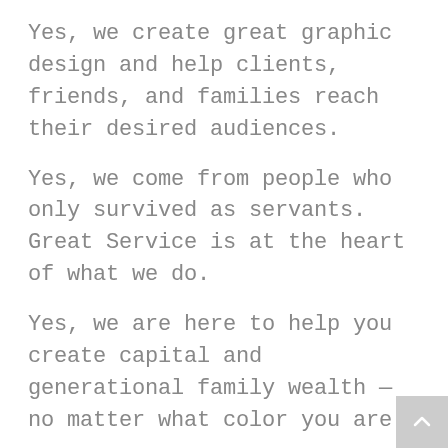Yes, we create great graphic design and help clients, friends, and families reach their desired audiences.
Yes, we come from people who only survived as servants. Great Service is at the heart of what we do.
Yes, we are here to help you create capital and generational family wealth — no matter what color you are.
Everything we create is a by-product of community-driven service.
That’s our goal, that’s what we stand by. And, we are backed by educators as we help them